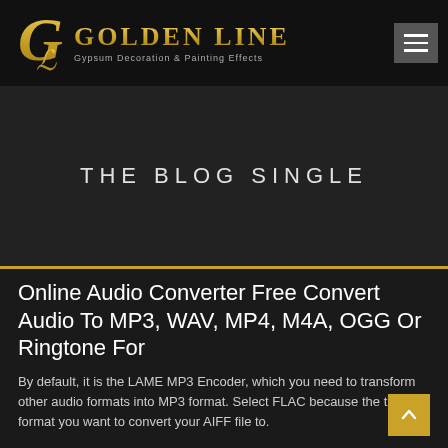GOLDEN LINE — Gypsum Decoration & Painting Effects
THE BLOG SINGLE
Online Audio Converter Free Convert Audio To MP3, WAV, MP4, M4A, OGG Or Ringtone For
By default, it is the LAME MP3 Encoder, which you need to transform other audio formats into MP3 format. Select FLAC because the the format you want to convert your AIFF file to.